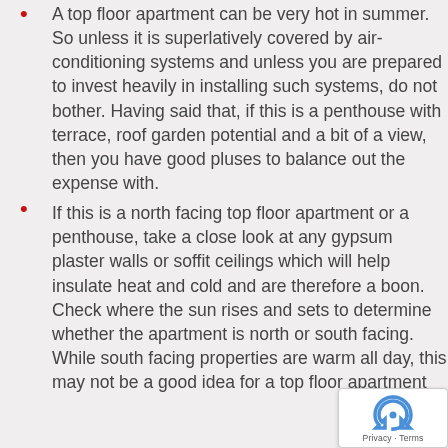A top floor apartment can be very hot in summer. So unless it is superlatively covered by air-conditioning systems and unless you are prepared to invest heavily in installing such systems, do not bother. Having said that, if this is a penthouse with terrace, roof garden potential and a bit of a view, then you have good pluses to balance out the expense with.
If this is a north facing top floor apartment or a penthouse, take a close look at any gypsum plaster walls or soffit ceilings which will help insulate heat and cold and are therefore a boon. Check where the sun rises and sets to determine whether the apartment is north or south facing. While south facing properties are warm all day, this may not be a good idea for a top floor apartment